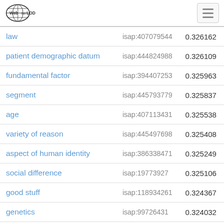Web isa LOD
| law | isap:407079544 | 0.326162 |
| patient demographic datum | isap:444824988 | 0.326109 |
| fundamental factor | isap:394407253 | 0.325963 |
| segment | isap:445793779 | 0.325837 |
| age | isap:407113431 | 0.325538 |
| variety of reason | isap:445497698 | 0.325408 |
| aspect of human identity | isap:386338471 | 0.325249 |
| social difference | isap:19773927 | 0.325106 |
| good stuff | isap:118934261 | 0.324367 |
| genetics | isap:99726431 | 0.324032 |